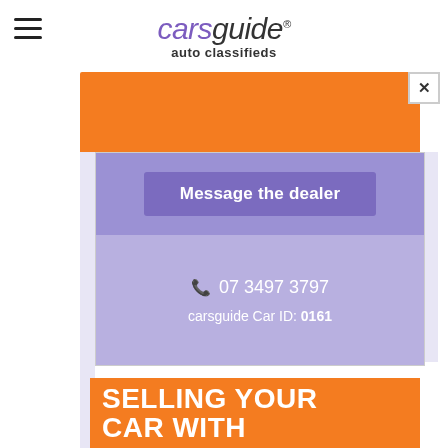[Figure (logo): CarsGuide auto classifieds logo with hamburger menu icon]
[Figure (other): Orange advertisement banner with close button X]
[Figure (other): Dealer contact card with purple background showing Message the dealer button, phone number 07 3497 3797, and carsguide Car ID: 0161]
[Figure (other): Orange banner with white bold text: SELLING YOUR CAR WITH AUTOTRADER ISN'T A LOT OF THINGS]